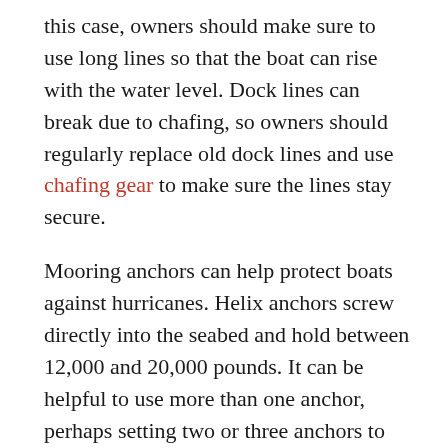this case, owners should make sure to use long lines so that the boat can rise with the water level. Dock lines can break due to chafing, so owners should regularly replace old dock lines and use chafing gear to make sure the lines stay secure.
Mooring anchors can help protect boats against hurricanes. Helix anchors screw directly into the seabed and hold between 12,000 and 20,000 pounds. It can be helpful to use more than one anchor, perhaps setting two or three anchors to reinforce the boat's storm stability. Regardless if the boat is on land or in water, owners must remove all canvas from the boat so that it is not damaged by the storm or debris. Anyone heading out for a sailing trip should have some familiarity with storm tracking and listen to local guidelines for hurricanes.